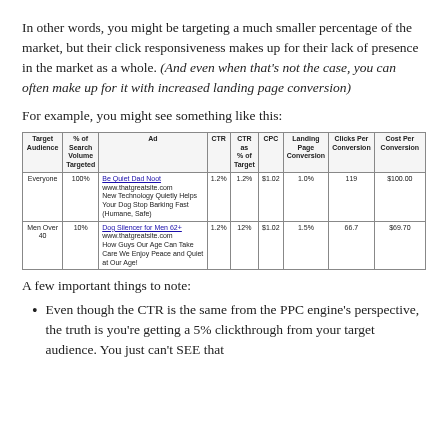In other words, you might be targeting a much smaller percentage of the market, but their click responsiveness makes up for their lack of presence in the market as a whole. (And even when that's not the case, you can often make up for it with increased landing page conversion)
For example, you might see something like this:
| Target Audience | % of Search Volume Targeted | Ad | CTR | CTR as % of Target | CPC | Landing Page Conversion | Clicks Per Conversion | Cost Per Conversion |
| --- | --- | --- | --- | --- | --- | --- | --- | --- |
| Everyone | 100% | Be Quiet Dad Noot
www.thatgreatsite.com
New Technology Quietly Helps Your Dog Stop Barking Fast (Humane, Safe) | 1.2% | 1.2% | $1.02 | 1.0% | 119 | $100.00 |
| Men Over 40 | 10% | Dog Silencer for Men 62+
www.thatgreatsite.com
How Guys Our Age Can Finally Enjoy Peace and Quiet at Our Age! | 1.2% | 12% | $1.02 | 1.5% | 66.7 | $69.70 |
A few important things to note:
Even though the CTR is the same from the PPC engine's perspective, the truth is you're getting a 5% clickthrough from your target audience. You just can't SEE that